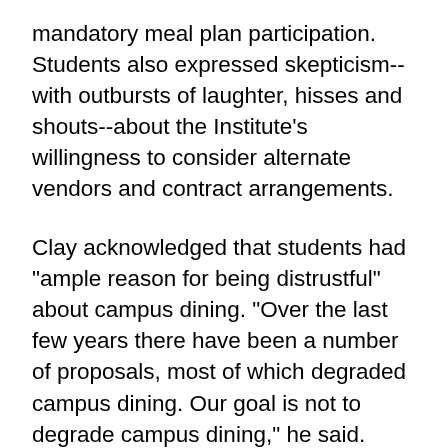mandatory meal plan participation. Students also expressed skepticism--with outbursts of laughter, hisses and shouts--about the Institute's willingness to consider alternate vendors and contract arrangements.
Clay acknowledged that students had "ample reason for being distrustful" about campus dining. "Over the last few years there have been a number of proposals, most of which degraded campus dining. Our goal is not to degrade campus dining," he said.
"But I have to be honest. Going forward, there has to be a Plan B which would go into effect in the event that another workable solution isn't agreed upon. Plan B would include mandatory dining next year for freshmen and incoming students...